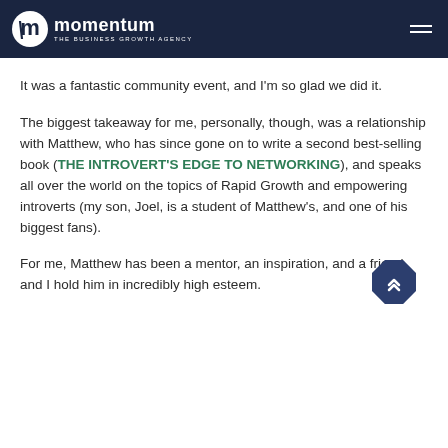momentum THE BUSINESS GROWTH AGENCY
It was a fantastic community event, and I'm so glad we did it.
The biggest takeaway for me, personally, though, was a relationship with Matthew, who has since gone on to write a second best-selling book (THE INTROVERT'S EDGE TO NETWORKING), and speaks all over the world on the topics of Rapid Growth and empowering introverts (my son, Joel, is a student of Matthew's, and one of his biggest fans).
For me, Matthew has been a mentor, an inspiration, and a friend, and I hold him in incredibly high esteem.